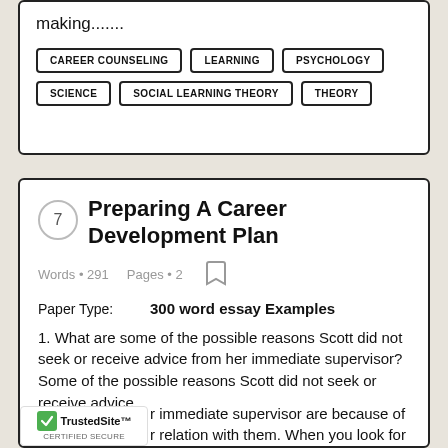making.......
CAREER COUNSELING
LEARNING
PSYCHOLOGY
SCIENCE
SOCIAL LEARNING THEORY
THEORY
Preparing A Career Development Plan
Words • 291    Pages • 2
Paper Type:    300 word essay Examples
1. What are some of the possible reasons Scott did not seek or receive advice from her immediate supervisor? Some of the possible reasons Scott did not seek or receive advice from her immediate supervisor are because of their relation with them. When you look for